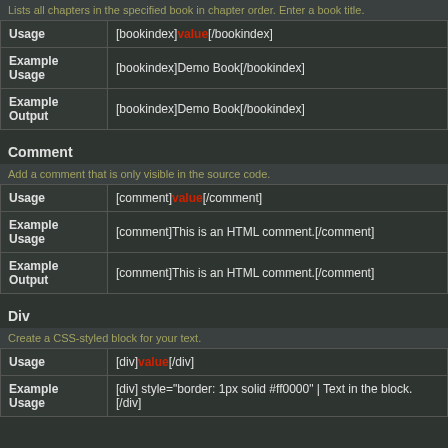Lists all chapters in the specified book in chapter order. Enter a book title.
|  |  |
| --- | --- |
| Usage | [bookindex]value[/bookindex] |
| Example Usage | [bookindex]Demo Book[/bookindex] |
| Example Output | [bookindex]Demo Book[/bookindex] |
Comment
Add a comment that is only visible in the source code.
|  |  |
| --- | --- |
| Usage | [comment]value[/comment] |
| Example Usage | [comment]This is an HTML comment.[/comment] |
| Example Output | [comment]This is an HTML comment.[/comment] |
Div
Create a CSS-styled block for your text.
|  |  |
| --- | --- |
| Usage | [div]value[/div] |
| Example Usage | [div] style="border: 1px solid #ff0000" | Text in the block. [/div] |